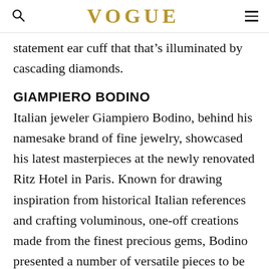VOGUE
statement ear cuff that that's illuminated by cascading diamonds.
GIAMPIERO BODINO
Italian jeweler Giampiero Bodino, behind his namesake brand of fine jewelry, showcased his latest masterpieces at the newly renovated Ritz Hotel in Paris. Known for drawing inspiration from historical Italian references and crafting voluminous, one-off creations made from the finest precious gems, Bodino presented a number of versatile pieces to be worn in more ways than one. Take the Tesori del Mare diamond collar necklace